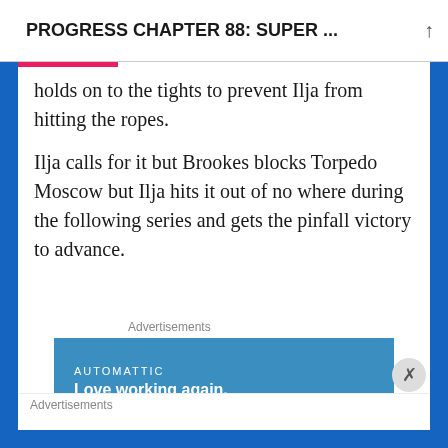PROGRESS CHAPTER 88: SUPER ...
holds on to the tights to prevent Ilja from hitting the ropes.
Ilja calls for it but Brookes blocks Torpedo Moscow but Ilja hits it out of no where during the following series and gets the pinfall victory to advance.
Advertisements
[Figure (screenshot): Automattic advertisement banner with text 'AUTOMATTIC' and tagline 'Love working again.' on a blue background]
REPORT THIS AD
We get to see people from Melbourne, Australia for the show so Jim pokes fun at the Ireland guy
Advertisements